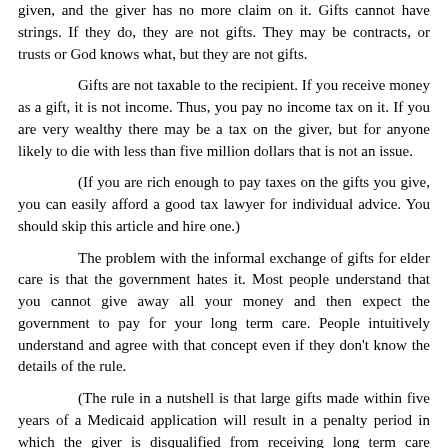given, and the giver has no more claim on it. Gifts cannot have strings. If they do, they are not gifts. They may be contracts, or trusts or God knows what, but they are not gifts.
Gifts are not taxable to the recipient. If you receive money as a gift, it is not income. Thus, you pay no income tax on it. If you are very wealthy there may be a tax on the giver, but for anyone likely to die with less than five million dollars that is not an issue.
(If you are rich enough to pay taxes on the gifts you give, you can easily afford a good tax lawyer for individual advice. You should skip this article and hire one.)
The problem with the informal exchange of gifts for elder care is that the government hates it. Most people understand that you cannot give away all your money and then expect the government to pay for your long term care. People intuitively understand and agree with that concept even if they don't know the details of the rule.
(The rule in a nutshell is that large gifts made within five years of a Medicaid application will result in a penalty period in which the giver is disqualified from receiving long term care coverage.)